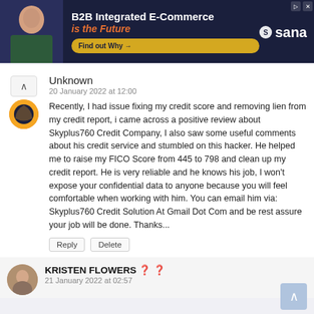[Figure (screenshot): Advertisement banner for Sana B2B Integrated E-Commerce with dark blue background, person on left, text 'B2B Integrated E-Commerce is the Future' and 'Find out Why' button]
Unknown
20 January 2022 at 12:00
Recently, I had issue fixing my credit score and removing lien from my credit report, i came across a positive review about Skyplus760 Credit Company, I also saw some useful comments about his credit service and stumbled on this hacker. He helped me to raise my FICO Score from 445 to 798 and clean up my credit report. He is very reliable and he knows his job, I won't expose your confidential data to anyone because you will feel comfortable when working with him. You can email him via: Skyplus760 Credit Solution At Gmail Dot Com and be rest assure your job will be done. Thanks...
Reply    Delete
KRISTEN FLOWERS ❓ ❓
21 January 2022 at 02:57